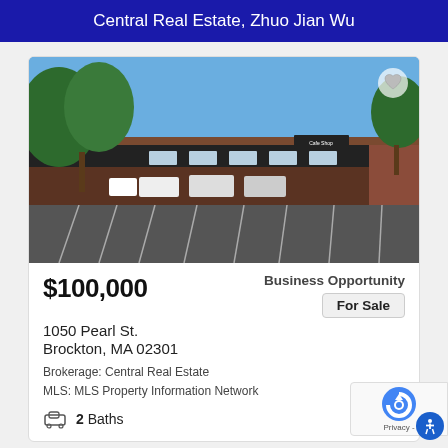Central Real Estate, Zhuo Jian Wu
[Figure (photo): Exterior photo of a commercial strip mall building with a large parking lot in the foreground, trees on the left, blue sky above. Located at 1050 Pearl St., Brockton, MA.]
$100,000
Business Opportunity
For Sale
1050 Pearl St.
Brockton, MA 02301
Brokerage: Central Real Estate
MLS: MLS Property Information Network
2 Baths